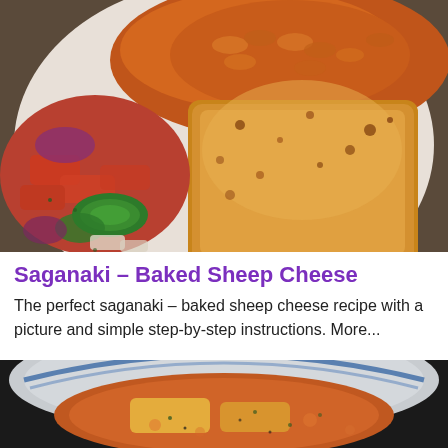[Figure (photo): A plate with golden-brown fried/baked saganaki (sheep cheese) alongside orzo pasta in tomato sauce and a vegetable salad with cucumber, red peppers, and onions.]
Saganaki – Baked Sheep Cheese
The perfect saganaki – baked sheep cheese recipe with a picture and simple step-by-step instructions. More...
[Figure (photo): Bottom portion of a bowl containing saganaki in a reddish-orange sauce, viewed from above, with dark pan/skillet visible around it.]